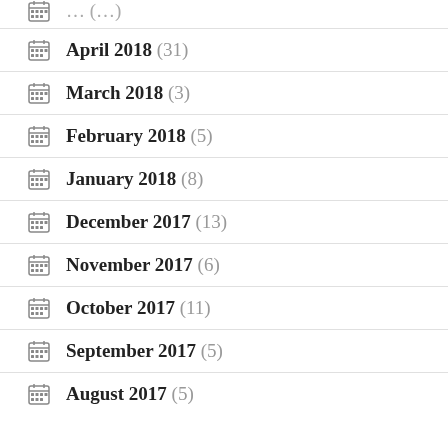April 2018 (31)
March 2018 (3)
February 2018 (5)
January 2018 (8)
December 2017 (13)
November 2017 (6)
October 2017 (11)
September 2017 (5)
August 2017 (5)